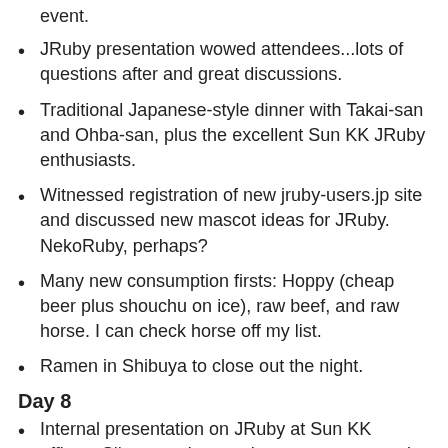event.
JRuby presentation wowed attendees...lots of questions after and great discussions.
Traditional Japanese-style dinner with Takai-san and Ohba-san, plus the excellent Sun KK JRuby enthusiasts.
Witnessed registration of new jruby-users.jp site and discussed new mascot ideas for JRuby. NekoRuby, perhaps?
Many new consumption firsts: Hoppy (cheap beer plus shouchu on ice), raw beef, and raw horse. I can check horse off my list.
Ramen in Shibuya to close out the night.
Day 8
Internal presentation on JRuby at Sun KK offices. Slim attendance...there were apparently HR training sessions at the same time. But still fun.